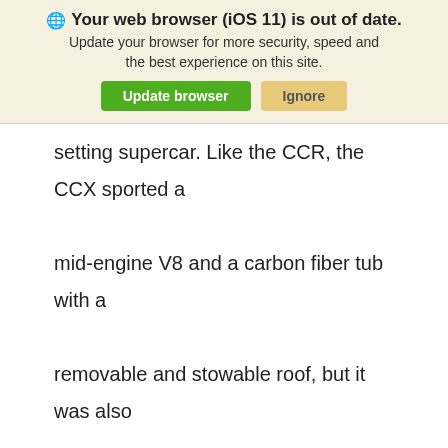[Figure (screenshot): Browser update notification banner with globe icon, bold title 'Your web browser (iOS 11) is out of date.', subtitle text, and two buttons: 'Update browser' (green) and 'Ignore' (tan/yellow).]
setting supercar. Like the CCR, the CCX sported a mid-engine V8 and a carbon fiber tub with a removable and stowable roof, but it was also larger and designed to meet world standards for emissions and safety. The CCX became the first
WE VALUE YOUR PRIVACY: We respect consumer privacy rights by letting visitors opt out of third-party tracking cookies and honoring user-enabled global privacy controls, like the GPC signal. This site deploys cookies and similar tracking technologies to build profiles, serve ads, and personalize your experience across websites. By pressing accept, you consent to the use of such cookies. To manage your privacy rights or view the categories of personal information we collect and the purposes for which the information is used, click here.
Language: English  ∨  Powered by ComplyAuto
Accept and Continue →  Privacy Policy  ×